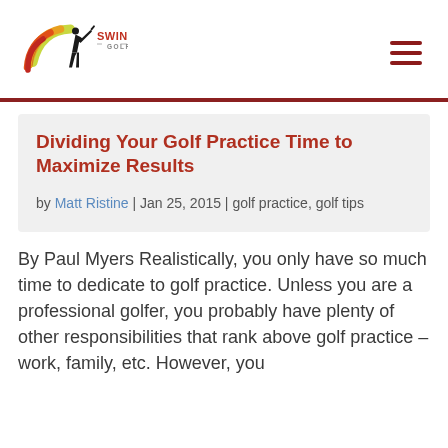[Figure (logo): Swing Man Golf logo with golfer silhouette and colorful arc, text reads SWING MAN GOLF]
Dividing Your Golf Practice Time to Maximize Results
by Matt Ristine | Jan 25, 2015 | golf practice, golf tips
By Paul Myers Realistically, you only have so much time to dedicate to golf practice. Unless you are a professional golfer, you probably have plenty of other responsibilities that rank above golf practice – work, family, etc. However, you